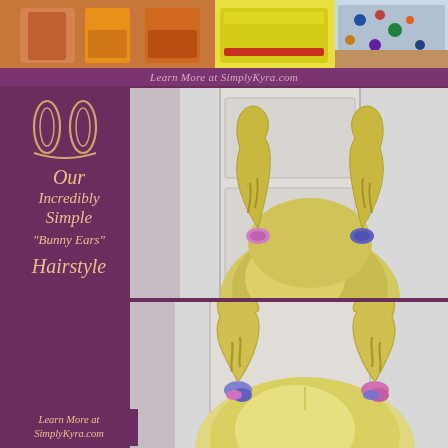[Figure (photo): Top banner showing children's clothing items - orange outfit on left, yellow shorts with red trim in center, and colorful patterned fabric on right]
Learn More at SimplyKyra.com
[Figure (photo): Back of a child's head showing a 'bunny ears' hairstyle with two braided pigtails styled to look like bunny ears, held with colorful hair ties]
[Figure (illustration): Decorative bunny ears outline icon in peach/tan color]
Our Incredibly Simple "Bunny Ears" Hairstyle
[Figure (photo): Close-up view of a child's bunny ears hairstyle from behind, showing braided sections looped upward with colorful elastics at the base]
Learn More at SimplyKyra.com